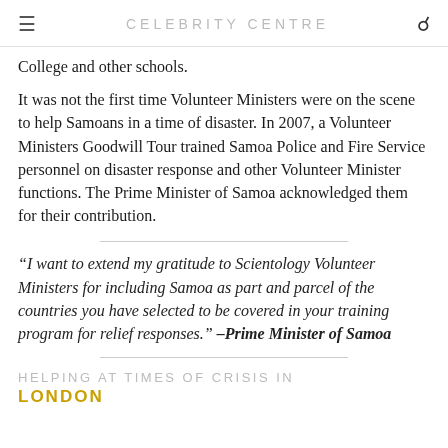CELEBRITY CENTRE
College and other schools.
It was not the first time Volunteer Ministers were on the scene to help Samoans in a time of disaster. In 2007, a Volunteer Ministers Goodwill Tour trained Samoa Police and Fire Service personnel on disaster response and other Volunteer Minister functions. The Prime Minister of Samoa acknowledged them for their contribution.
“I want to extend my gratitude to Scientology Volunteer Ministers for including Samoa as part and parcel of the countries you have selected to be covered in your training program for relief responses.” –Prime Minister of Samoa
HELPING AT TIMES OF CRISIS IN
LONDON